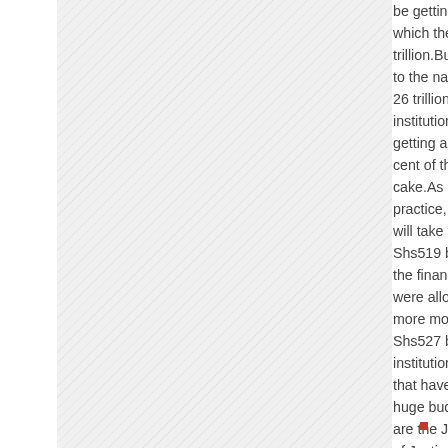[Figure (illustration): Diagonal hatched/striped light gray pattern filling the left portion of the page]
be getting 1.07... which they got trillion. But in co... to the national 26 trillion, the 1 institutions will getting a paltry cent of the nati... cake. As it has practice, the Po... will take the lio... Shs519 billion ... the financial ye... were allocated more money a... Shs527 billion. institutions in th... that have been huge budget al... are the Judicia... of Justice and ... Prisons. Read ...